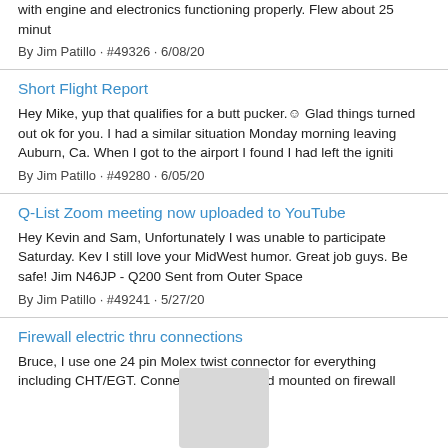with engine and electronics functioning properly. Flew about 25 minut
By Jim Patillo · #49326 · 6/08/20
Short Flight Report
Hey Mike, yup that qualifies for a butt pucker.☺ Glad things turned out ok for you. I had a similar situation Monday morning leaving Auburn, Ca. When I got to the airport I found I had left the igniti
By Jim Patillo · #49280 · 6/05/20
Q-List Zoom meeting now uploaded to YouTube
Hey Kevin and Sam, Unfortunately I was unable to participate Saturday. Kev I still love your MidWest humor. Great job guys. Be safe! Jim N46JP - Q200 Sent from Outer Space
By Jim Patillo · #49241 · 5/27/20
Firewall electric thru connections
Bruce, I use one 24 pin Molex twist connector for everything including CHT/EGT. Connector is bulkhead mounted on firewall